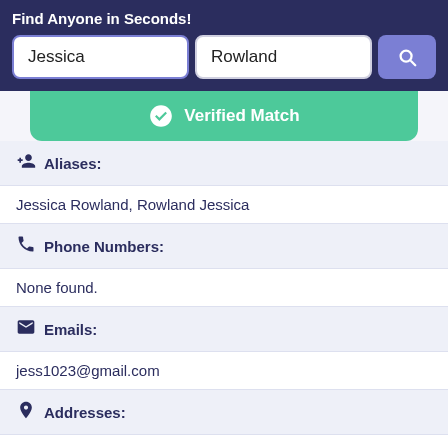Find Anyone in Seconds!
Jessica
Rowland
Verified Match
Aliases:
Jessica Rowland, Rowland Jessica
Phone Numbers:
None found.
Emails:
jess1023@gmail.com
Addresses:
Phoenix, Arizona, United States
Record Overview: